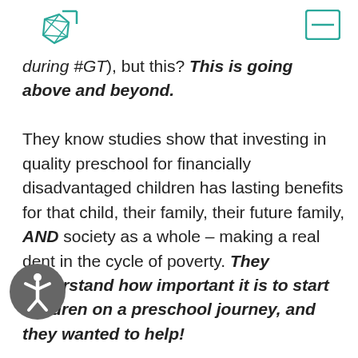[Figure (logo): Teal geometric polygon logo icon in top left]
[Figure (other): Teal rectangle/menu icon in top right]
during #GT), but this? This is going above and beyond.
They know studies show that investing in quality preschool for financially disadvantaged children has lasting benefits for that child, their family, their future family, AND society as a whole – making a real dent in the cycle of poverty. They understand how important it is to start children on a preschool journey, and they wanted to help!
[Figure (illustration): Gray circular accessibility icon with person figure]